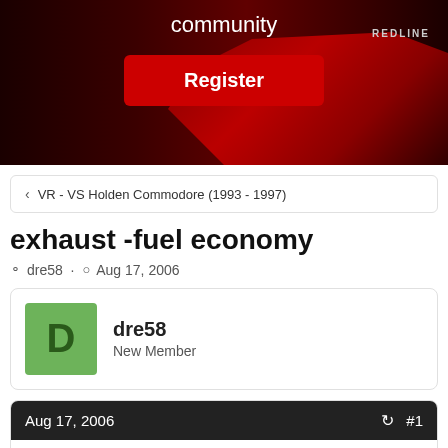[Figure (photo): Dark hero banner with a red car (Holden Commodore), 'community' text at top, and a red Register button. REDLINE badge visible top right.]
< VR - VS Holden Commodore (1993 - 1997)
exhaust -fuel economy
dre58 · Aug 17, 2006
dre58
New Member
Aug 17, 2006  #1
I've got a VR HSV Senator, i was thinking of putting a new exhaust set up, new extractors with a 3in...